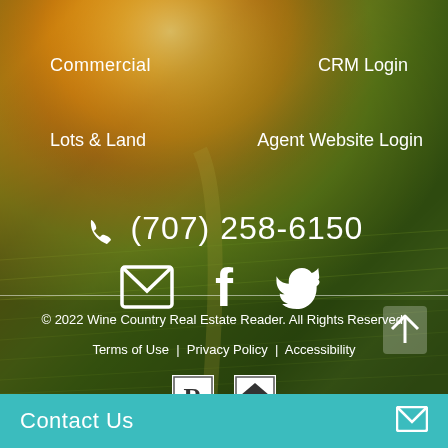[Figure (photo): Background photo of a vineyard with rows of grapevines at golden sunset, warm orange and green tones]
Commercial
CRM Login
Lots & Land
Agent Website Login
(707) 258-6150
[Figure (infographic): Email icon (envelope), Facebook icon (f), Twitter icon (bird) - social media icons in white]
© 2022 Wine Country Real Estate Reader. All Rights Reserved. Terms of Use | Privacy Policy | Accessibility
[Figure (logo): Realtor R logo and Equal Housing Opportunity logo]
Contact Us